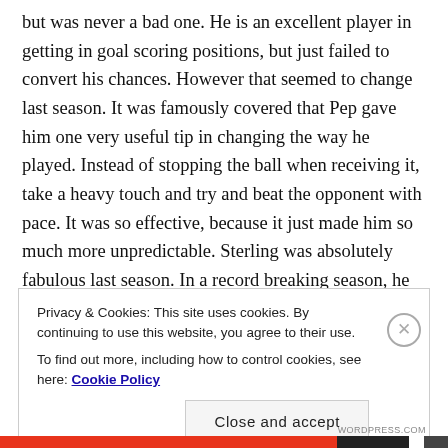but was never a bad one. He is an excellent player in getting in goal scoring positions, but just failed to convert his chances. However that seemed to change last season. It was famously covered that Pep gave him one very useful tip in changing the way he played. Instead of stopping the ball when receiving it, take a heavy touch and try and beat the opponent with pace. It was so effective, because it just made him so much more unpredictable. Sterling was absolutely fabulous last season. In a record breaking season, he was one of their best players, ending the season with 18 goals and 11 assists. Those are real world class numbers for a
Privacy & Cookies: This site uses cookies. By continuing to use this website, you agree to their use.
To find out more, including how to control cookies, see here: Cookie Policy
Close and accept